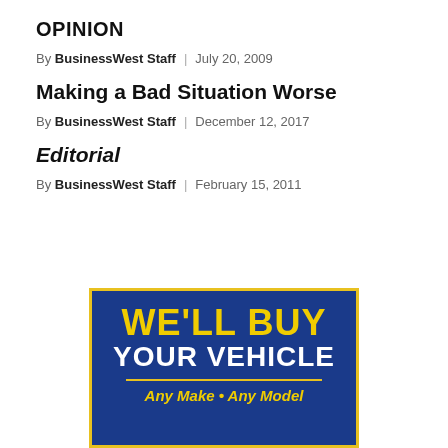OPINION
By BusinessWest Staff | July 20, 2009
Making a Bad Situation Worse
By BusinessWest Staff | December 12, 2017
Editorial
By BusinessWest Staff | February 15, 2011
[Figure (other): Advertisement: WE'LL BUY YOUR VEHICLE - Any Make • Any Model, blue background with yellow border and yellow/white text]